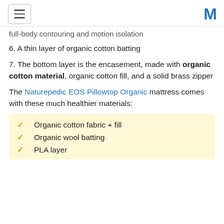[hamburger menu icon] [M logo]
full-body contouring and motion isolation
6. A thin layer of organic cotton batting
7. The bottom layer is the encasement, made with organic cotton material, organic cotton fill, and a solid brass zipper
The Naturepedic EOS Pillowtop Organic mattress comes with these much healthier materials:
Organic cotton fabric + fill
Organic wool batting
PLA layer